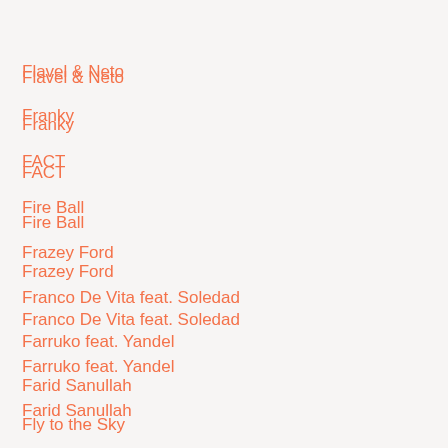Flavel & Neto
Franky
FACT
Fire Ball
Frazey Ford
Franco De Vita feat. Soledad
Farruko feat. Yandel
Farid Sanullah
Fly to the Sky
Fabri Fibra feat. Gemitaiz